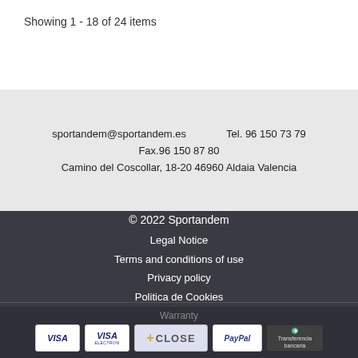Showing 1 - 18 of 24 items
sportandem@sportandem.es    Tel. 96 150 73 79
Fax.96 150 87 80
Camino del Coscollar, 18-20 46960 Aldaia Valencia
© 2022 Sportandem
Legal Notice
Terms and conditions of use
Privacy policy
Politica de Cookies
Warranty